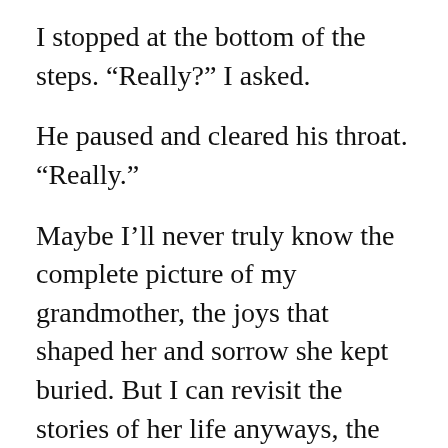I stopped at the bottom of the steps. “Really?” I asked.
He paused and cleared his throat. “Really.”
Maybe I’ll never truly know the complete picture of my grandmother, the joys that shaped her and sorrow she kept buried. But I can revisit the stories of her life anyways, the way I read favorite books, relishing the same details while discovering new ones. Even as I finish “The Height of the Mountain,” there is so much more to imagine, recreate and build upon from her life and work. And I’ll have my entire life for that.
A fiery sunset gleams in the window as I leave